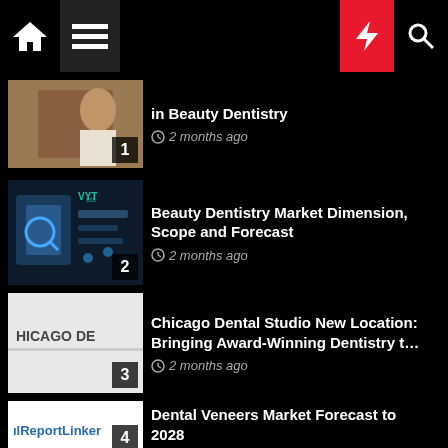Navigation bar with home, menu, dark mode, lightning, and search icons
1 · in Beauty Dentistry · 2 months ago
2 · Beauty Dentistry Market Dimension, Scope and Forecast · 2 months ago
3 · Chicago Dental Studio New Location: Bringing Award-Winning Dentistry t… · 2 months ago
4 · Dental Veneers Market Forecast to 2028 · 2 months ago
5 · Beverly Hills Dentist Shares Tips on Choosing a Cosmetic Dentist · 2 months ago